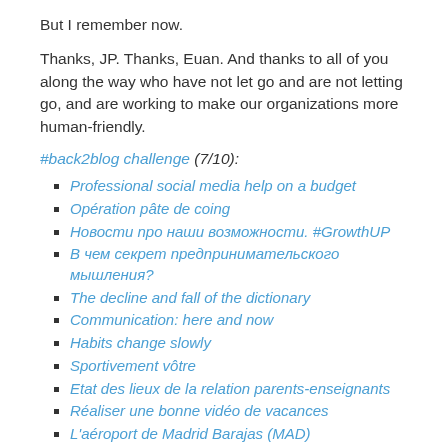But I remember now.
Thanks, JP. Thanks, Euan. And thanks to all of you along the way who have not let go and are not letting go, and are working to make our organizations more human-friendly.
#back2blog challenge (7/10):
Professional social media help on a budget
Opération pâte de coing
Новости про наши возможности. #GrowthUP
В чем секрет предпринимательского мышления?
The decline and fall of the dictionary
Communication: here and now
Habits change slowly
Sportivement vôtre
Etat des lieux de la relation parents-enseignants
Réaliser une bonne vidéo de vacances
L'aéroport de Madrid Barajas (MAD)
Tout fout l'camp, même les traditions!
Una camera che vede attraverso i muri
Reckitt's strategic approach to Facebook marketing
TextRoom, un logiciel d'écriture